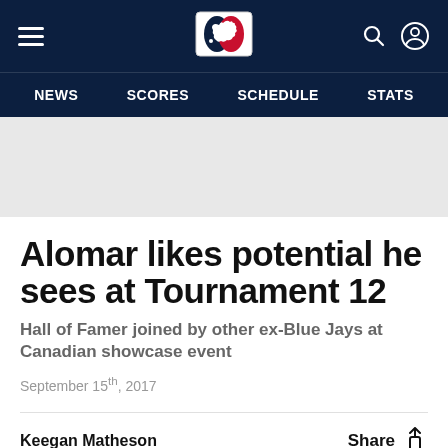[Figure (logo): MLB website navigation header with hamburger menu, MLB logo, search and user icons on dark navy background]
NEWS   SCORES   SCHEDULE   STATS
Alomar likes potential he sees at Tournament 12
Hall of Famer joined by other ex-Blue Jays at Canadian showcase event
September 15th, 2017
Keegan Matheson
Share